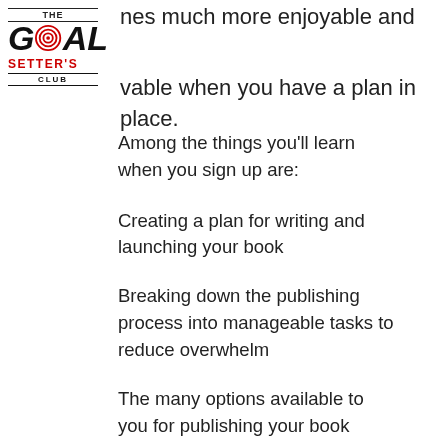THE GOAL SETTER'S CLUB
nes much more enjoyable and vable when you have a plan in place.
Among the things you'll learn when you sign up are:
Creating a plan for writing and launching your book
Breaking down the publishing process into manageable tasks to reduce overwhelm
The many options available to you for publishing your book
Plus much more...